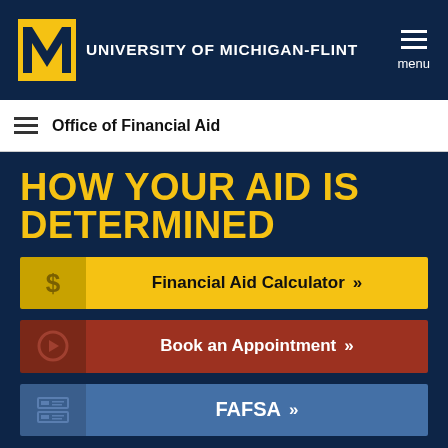University of Michigan-Flint
Office of Financial Aid
HOW YOUR AID IS DETERMINED
$ Financial Aid Calculator »
Book an Appointment »
FAFSA »